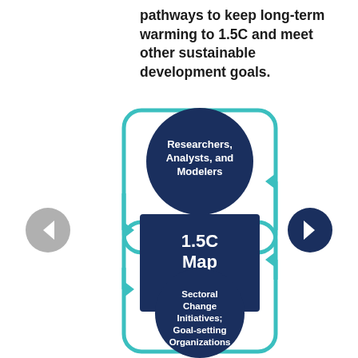pathways to keep long-term warming to 1.5C and meet other sustainable development goals.
[Figure (flowchart): Circular flowchart showing the 1.5C Map Room at the center (dark blue square), connected via teal arrows to two dark blue circles: 'Researchers, Analysts, and Modelers' above, and 'Sectoral Change Initiatives; Goal-setting Organizations' below. Navigation arrows (gray left, dark blue right) appear on sides.]